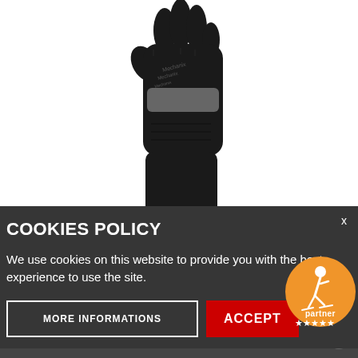[Figure (photo): Black Mechanix Fastfit glove with grey accent strip, photographed from above showing palm side]
MECHANIX
Gloves Fastfit, Black
€ 19.50
COOKIES POLICY
We use cookies on this website to provide you with the best experience to use the site.
MORE INFORMATIONS
ACCEPT
[Figure (logo): Orange circular partner badge with skier icon, 'partner' text, and 5 stars]
Προσφορά ημέρας